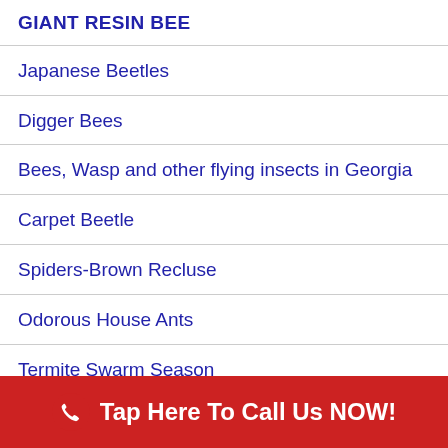GIANT RESIN BEE
Japanese Beetles
Digger Bees
Bees, Wasp and other flying insects in Georgia
Carpet Beetle
Spiders-Brown Recluse
Odorous House Ants
Termite Swarm Season
Who Are You Calling A Sugar Ant? Sugar Ants- Small ants
Bats in the Attic
Do i need pest control in the Winter?
Tap Here To Call Us NOW!